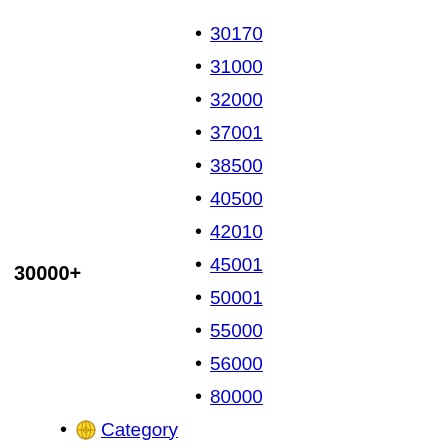30170
31000
32000
37001
38500
40500
30000+
42010
45001
50001
55000
56000
80000
Category
Programming languages
Programming languages
Comparison
Timeline
History
Ada
ALGOL